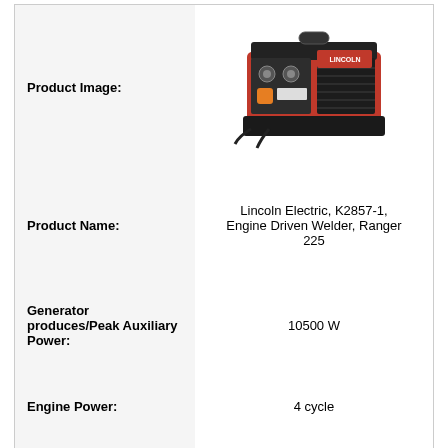| Field | Value |
| --- | --- |
| Product Image: | [image of Lincoln Electric Ranger 225 welder] |
| Product Name: | Lincoln Electric, K2857-1, Engine Driven Welder, Ranger 225 |
| Generator produces/Peak Auxiliary Power: | 10500 W |
| Engine Power: | 4 cycle |
| No. of Cylinder: | 2 |
| Weld Thickness: | ½ inch |